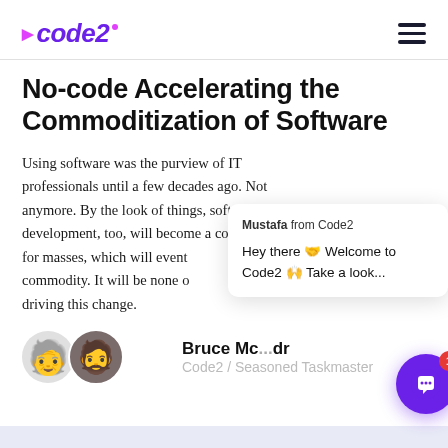code2
No-code Accelerating the Commoditization of Software
Using software was the purview of IT professionals until a few decades ago. Not anymore. By the look of things, software development, too, will become a common toil for masses, which will event commodity. It will be none o driving this change.
Mustafa from Code2
Hey there 🤝 Welcome to Code2 🙌 Take a look...
Bruce Mc...dr
Code2 / Seasoned Taskmaster